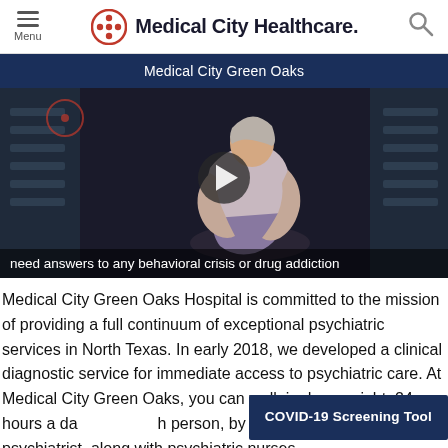Menu | Medical City Healthcare
Medical City Green Oaks
[Figure (screenshot): Video thumbnail showing a person sitting with knees pulled to chest in a dark corridor, with a play button overlay and subtitle text: 'need answers to any behavioral crisis or drug addiction']
Medical City Green Oaks Hospital is committed to the mission of providing a full continuum of exceptional psychiatric services in North Texas. In early 2018, we developed a clinical diagnostic service for immediate access to psychiatric care. At Medical City Green Oaks, you can walk in day or night, 24 hours a day, and be evaluated in person, by a specially trained psychiatrist, along with psychiatric nurses
COVID-19 Screening Tool